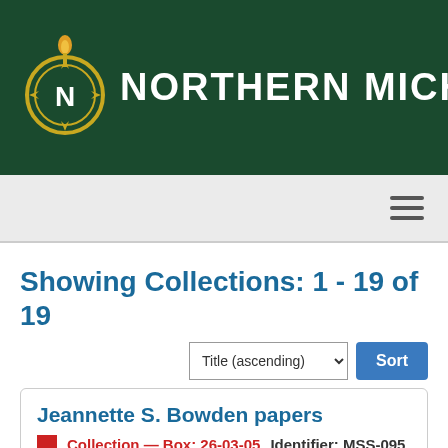[Figure (logo): Northern Michigan University logo with compass/torch emblem and NMU text on dark green banner]
NORTHERN MICHIGAN U
Showing Collections: 1 - 19 of 19
Title (ascending) Sort
Jeannette S. Bowden papers
Collection — Box: 26-03-05   Identifier: MSS-095
Scope and Contents note This collection contains newspaper clippings, correspondence, and photographs that document Jeannette Bowden's receipt of the Northern Michigan University (NMU)